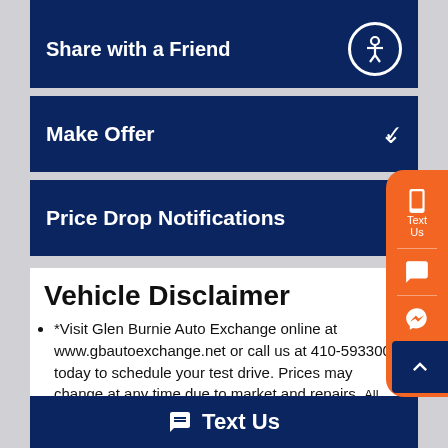Share with a Friend
Make Offer
Price Drop Notifications
Vehicle Disclaimer
*Visit Glen Burnie Auto Exchange online at www.gbautoexchange.net or call us at 410-59... 3300 today to schedule your test drive. Prices may change at any time due to market and repairs. All Vehicles are Maryland State Inspected. We are a Licensed Dealer and Handle all MVA Tag and Title
Text Us